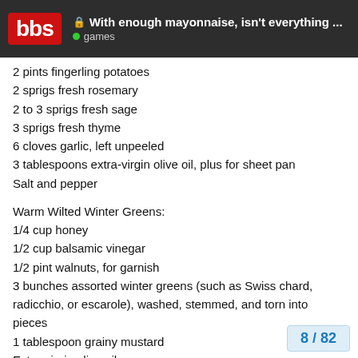bbs | With enough mayonnaise, isn't everything ... | games
2 pints fingerling potatoes
2 sprigs fresh rosemary
2 to 3 sprigs fresh sage
3 sprigs fresh thyme
6 cloves garlic, left unpeeled
3 tablespoons extra-virgin olive oil, plus for sheet pan
Salt and pepper
Warm Wilted Winter Greens:
1/4 cup honey
1/2 cup balsamic vinegar
1/2 pint walnuts, for garnish
3 bunches assorted winter greens (such as Swiss chard, radicchio, or escarole), washed, stemmed, and torn into pieces
1 tablespoon grainy mustard
Extra-virgin olive oil
1/2 cup pomegranate seeds, for garnish
Parmesan shavings, for garnish
1 shallot, chopped, for garnish
8 / 82